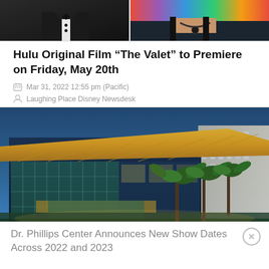[Figure (photo): Top cropped image showing two people: left side a person in a tuxedo (black and white), right side a person in a colorful sequined outfit with a black necklace]
Hulu Original Film “The Valet” to Premiere on Friday, May 20th
Mar 31, 2022 12:55 pm (Pacific)
Laughing Place Disney Newsdesk
[Figure (photo): Night photograph of the Dr. Phillips Center for the Performing Arts building, a modern glass and golden-roofed structure lit up at night with palm trees and a hotel building in background]
Dr. Phillips Center Announces New Show Dates Across 2022 and 2023